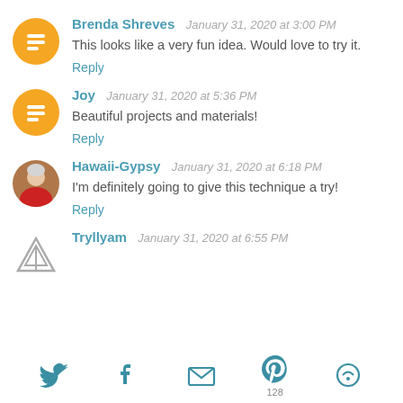Brenda Shreves January 31, 2020 at 3:00 PM
This looks like a very fun idea. Would love to try it.
Reply
Joy January 31, 2020 at 5:36 PM
Beautiful projects and materials!
Reply
Hawaii-Gypsy January 31, 2020 at 6:18 PM
I'm definitely going to give this technique a try!
Reply
Tryllyam January 31, 2020 at 6:55 PM
[Figure (infographic): Social sharing bar with Twitter, Facebook, Email, Pinterest (128), and feed icons in teal/dark teal color]